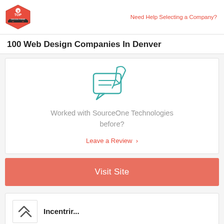Top Design Firms | Need Help Selecting a Company?
100 Web Design Companies In Denver
[Figure (illustration): Teal outline icon of a hand writing/signing a document with speech bubbles]
Worked with SourceOne Technologies before?
Leave a Review >
Visit Site
[Figure (logo): Company logo thumbnail with arrows icon]